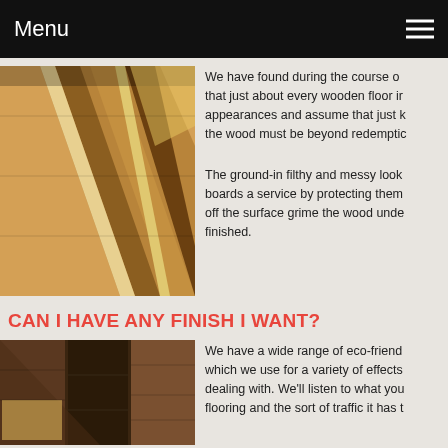Menu
[Figure (photo): Wooden floor boards with alternating dark brown and light yellow/cream planks in a hallway]
We have found during the course of that just about every wooden floor in appearances and assume that just b the wood must be beyond redemptio
The ground-in filthy and messy look boards a service by protecting them off the surface grime the wood unde finished.
CAN I HAVE ANY FINISH I WANT?
[Figure (photo): Dark wood flooring samples showing different finishes and stains]
We have a wide range of eco-friend which we use for a variety of effects dealing with. We'll listen to what you flooring and the sort of traffic it has t